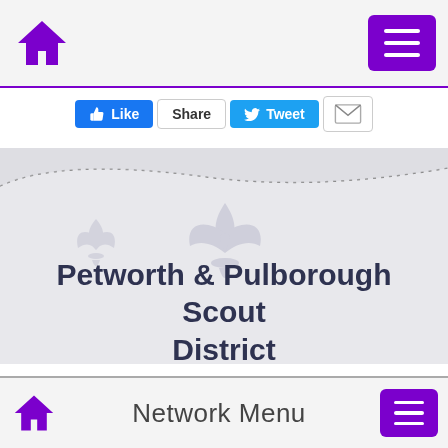Home | Menu
[Figure (screenshot): Social sharing buttons: Like (Facebook), Share, Tweet (Twitter), Email]
[Figure (illustration): Website banner area with grey wave background and faint fleur-de-lis / scout logo watermarks]
Petworth & Pulborough Scout District
Network Menu